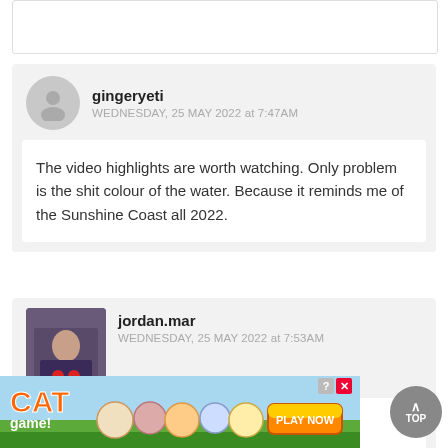[Figure (other): Partial comment box at top of page, mostly cropped]
gingeryeti
WEDNESDAY, 25 MAY 2022 at 7:47AM
The video highlights are worth watching. Only problem is the shit colour of the water. Because it reminds me of the Sunshine Coast all 2022.
[Figure (photo): Profile photo of jordan.mar - person sitting outdoors]
jordan.mar
WEDNESDAY, 25 MAY 2022 at 7:53AM
Yew! Boogie love!
[Figure (infographic): Advertisement banner for Cat Game mobile app with cartoon cats and Play Now button]